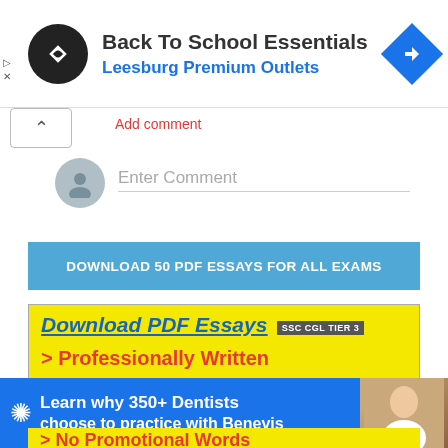[Figure (screenshot): Ad banner: Back To School Essentials at Leesburg Premium Outlets with circular logo and blue navigation diamond icon]
Add comment
Enter Comment
DOWNLOAD 50 PDF ESSAYS FOR ALL EXAMS
[Figure (screenshot): Yellow promotional box for Download PDF Essays - SSC CGL TIER 3 - Professionally Written]
[Figure (screenshot): Blue ad banner: Learn why 350+ Dentists choose to practice with Benevis]
> No Promotional Words